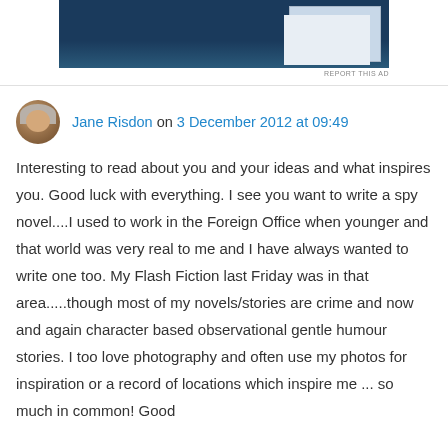[Figure (screenshot): Advertisement banner image with dark blue background and lighter colored inset panel on the right side]
REPORT THIS AD
Jane Risdon on 3 December 2012 at 09:49
Interesting to read about you and your ideas and what inspires you. Good luck with everything. I see you want to write a spy novel....I used to work in the Foreign Office when younger and that world was very real to me and I have always wanted to write one too. My Flash Fiction last Friday was in that area.....though most of my novels/stories are crime and now and again character based observational gentle humour stories. I too love photography and often use my photos for inspiration or a record of locations which inspire me ... so much in common! Good